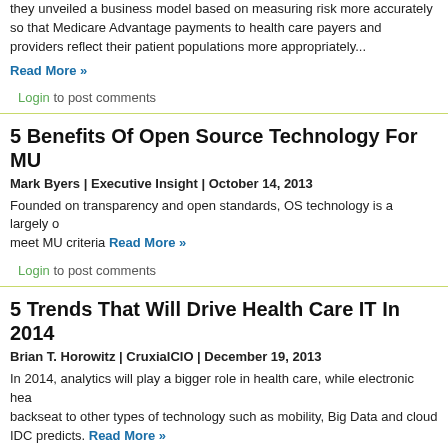they unveiled a business model based on measuring risk more accurately so that Medicare Advantage payments to health care payers and providers reflect their patient populations more appropriately...
Read More »
Login to post comments
5 Benefits Of Open Source Technology For MU
Mark Byers | Executive Insight | October 14, 2013
Founded on transparency and open standards, OS technology is a largely meet MU criteria Read More »
Login to post comments
5 Trends That Will Drive Health Care IT In 2014
Brian T. Horowitz | CruxialCIO | December 19, 2013
In 2014, analytics will play a bigger role in health care, while electronic hea backseat to other types of technology such as mobility, Big Data and cloud IDC predicts. Read More »
Login to post comments